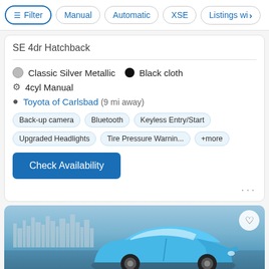Filter | Manual | Automatic | XSE | Listings wi>
SE 4dr Hatchback
Classic Silver Metallic  •  Black cloth
4cyl Manual
Toyota of Carlsbad (9 mi away)
Back-up camera
Bluetooth
Keyless Entry/Start
Upgraded Headlights
Tire Pressure Warnin...
+more
Check Availability
[Figure (photo): Blue Toyota hatchback car photographed in front of a city skyline with water in the foreground]